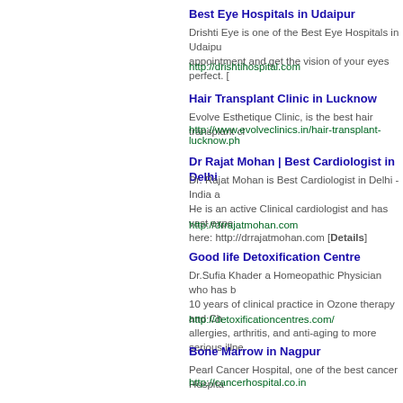Best Eye Hospitals in Udaipur
Drishti Eye is one of the Best Eye Hospitals in Udaipu... appointment and get the vision of your eyes perfect. [
http://drishtihospital.com
Hair Transplant Clinic in Lucknow
Evolve Esthetique Clinic, is the best hair transplant cl...
http://www.evolveclinics.in/hair-transplant-lucknow.ph...
Dr Rajat Mohan | Best Cardiologist in Delhi
Dr. Rajat Mohan is Best Cardiologist in Delhi - India a... He is an active Clinical cardiologist and has vast expe... here: http://drrajatmohan.com [Details]
http://drrajatmohan.com
Good life Detoxification Centre
Dr.Sufia Khader a Homeopathic Physician who has b... 10 years of clinical practice in Ozone therapy and Ch... allergies, arthritis, and anti-aging to more serious illne...
http://detoxificationcentres.com/
Bone Marrow in Nagpur
Pearl Cancer Hospital, one of the best cancer Hospita...
http://cancerhospital.co.in